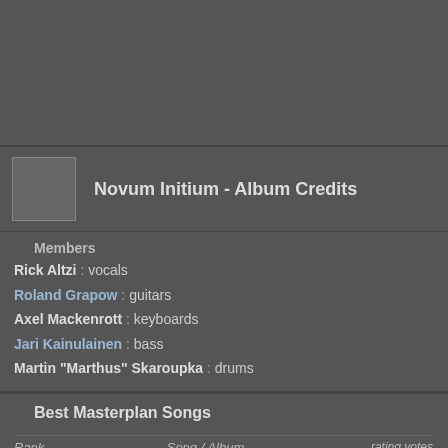[Figure (other): Dark gray top area, likely a banner or navigation area]
Novum Initium - Album Credits
Members
Rick Altzi : vocals
Roland Grapow : guitars
Axel Mackenrott : keyboards
Jari Kainulainen : bass
Martin "Marthus" Skaroupka : drums
Best Masterplan Songs
| Rank | Song / Album | rating votes |
| --- | --- | --- |